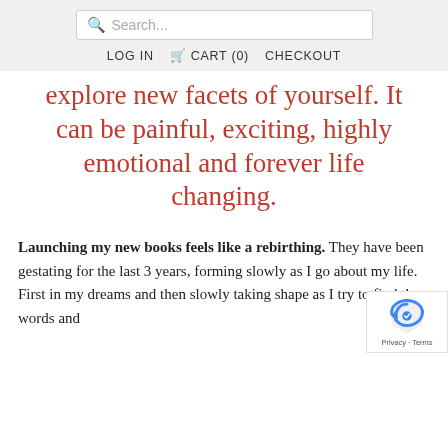Search... | LOG IN | CART (0) | CHECKOUT
explore new facets of yourself. It can be painful, exciting, highly emotional and forever life changing.
Launching my new books feels like a rebirthing. They have been gestating for the last 3 years, forming slowly as I go about my life. First in my dreams and then slowly taking shape as I try to find the words and